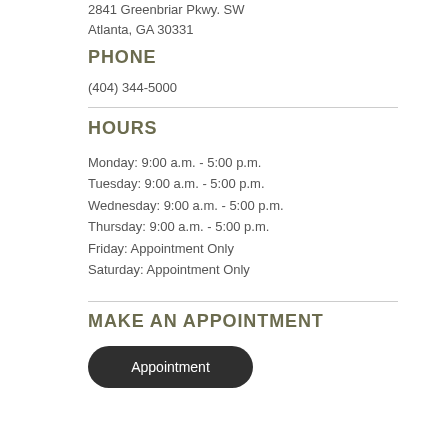2841 Greenbriar Pkwy. SW
Atlanta, GA 30331
PHONE
(404) 344-5000
HOURS
Monday: 9:00 a.m. - 5:00 p.m.
Tuesday: 9:00 a.m. - 5:00 p.m.
Wednesday: 9:00 a.m. - 5:00 p.m.
Thursday: 9:00 a.m. - 5:00 p.m.
Friday: Appointment Only
Saturday: Appointment Only
MAKE AN APPOINTMENT
Appointment